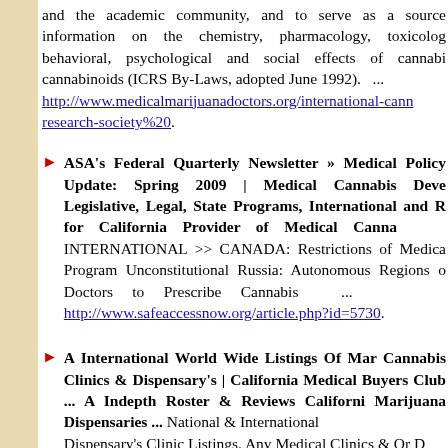and the academic community, and to serve as a source information on the chemistry, pharmacology, toxicology, behavioral, psychological and social effects of cannabis cannabinoids (ICRS By-Laws, adopted June 1992). ... http://www.medicalmarijuanadoctors.org/international-cannabinoid-research-society%20.
ASA's Federal Quarterly Newsletter » Medical Policy Update: Spring 2009 | Medical Cannabis Developments Legislative, Legal, State Programs, International and Resources for California Provider of Medical Cannabis INTERNATIONAL >> CANADA: Restrictions of Medical Cannabis Program Unconstitutional Russia: Autonomous Regions of Doctors to Prescribe Cannabis ... http://www.safeaccessnow.org/article.php?id=5730.
A International World Wide Listings Of Marijuana Cannabis Clinics & Dispensary's | California Medical Buyers Club ... A Indepth Roster & Reviews California Marijuana Dispensaries ... National & International Dispensary's Clinic Listings. Any Medical Clinics & Or Dispensaries Or Delivery Services Who Would Like To Get Listed Ho...